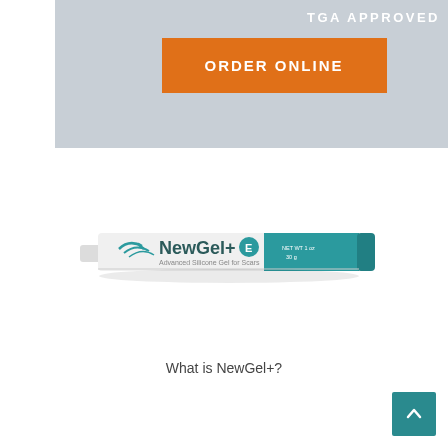TGA APPROVED
ORDER ONLINE
[Figure (photo): NewGel+E Advanced Silicone Gel for Scars tube product photo, white and teal tube angled horizontally]
What is NewGel+?